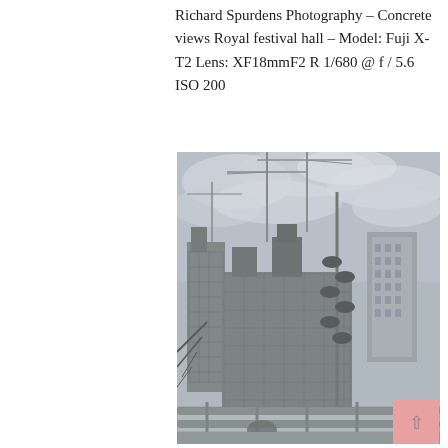Richard Spurdens Photography – Concrete views Royal festival hall – Model: Fuji X-T2 Lens: XF18mmF2 R 1/680 @ f / 5.6 ISO 200
[Figure (photo): Black and white HDR photograph of a construction site near the Royal Festival Hall, London. Shows large concrete buildings under construction with tower cranes visible against a cloudy sky. In the foreground is a metal railing/bridge structure, and a pole with multiple speaker horns. To the right is a tall completed office/hotel tower.]